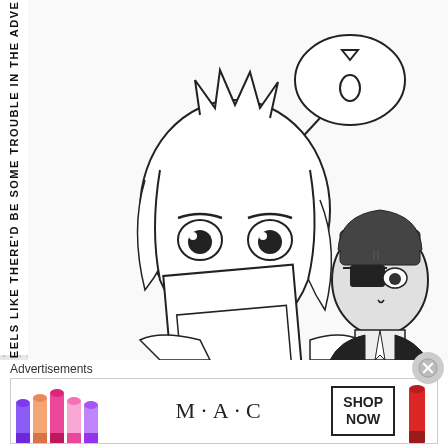[Figure (illustration): Black and white manga panel showing two anime-style characters. The main character in the foreground is a young woman with light hair holding a document/paper up covering the lower half of her face, looking nervous. In the background to the right is a dark-haired male character wearing a mask/eye patch and formal dark clothing. A speech bubble with a sweat drop symbol is shown in the upper right. Vertical text on the left side reads: '? STARES...? FEELS LIKE THERE'D BE SOME TROUBLE IN THE ADVENTURER'S GUIL']
Advertisements
[Figure (photo): MAC Cosmetics advertisement banner showing colorful lipsticks on the left side (purple, pink, peach tones) and right side (red), MAC logo text in center, and a 'SHOP NOW' button box.]